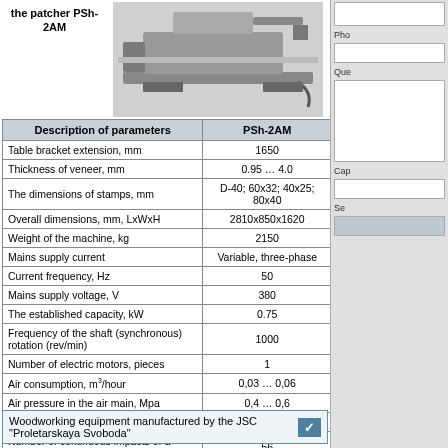the patcher PSh-2AM
[Figure (photo): Black and white photograph of the PSh-2AM patching machine, showing a mechanical device with a flat table and mechanical components.]
| Description of parameters | PSh-2AM |
| --- | --- |
| Table bracket extension, mm | 1650 |
| Thickness of veneer, mm | 0.95 … 4.0 |
| The dimensions of stamps, mm | D-40; 60x32; 40x25; 80x40 |
| Overall dimensions, mm, LxWxH | 2810x850x1620 |
| Weight of the machine, kg | 2150 |
| Mains supply current | Variable, three-phase |
| Current frequency, Hz | 50 |
| Mains supply voltage, V | 380 |
| The established capacity, kW | 0.75 |
| Frequency of the shaft (synchronous) rotation (rev/min) | 1000 |
| Number of electric motors, pieces | 1 |
| Air consumption, m³/hour | 0,03 … 0,06 |
| Air pressure in the air main, Mpa | 0,4 … 0,6 |
| Number of maintenance personnel | 1 |
| Number of continuous impacts of a stamp per one minute, not below | 56 |
Woodworking equipment manufactured by the JSC "Proletarskaya Svoboda"